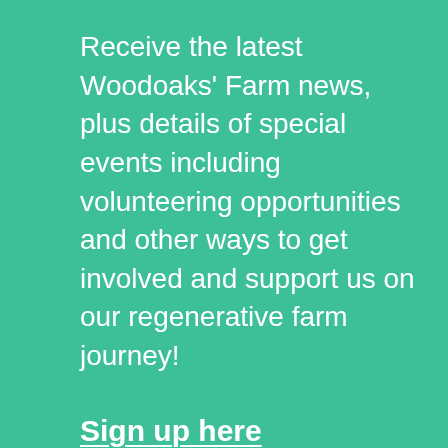Receive the latest Woodoaks' Farm news, plus details of special events including volunteering opportunities and other ways to get involved and support us on our regenerative farm journey!
Sign up here